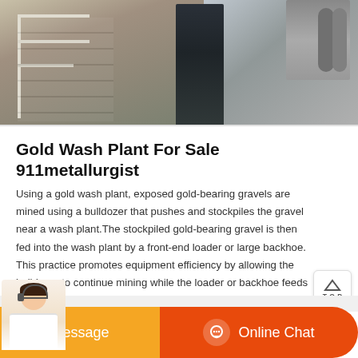[Figure (photo): Top photo showing a gold wash plant site with a worker in uniform, industrial equipment, railings and stairs visible from above.]
Gold Wash Plant For Sale 911metallurgist
Using a gold wash plant, exposed gold-bearing gravels are mined using a bulldozer that pushes and stockpiles the gravel near a wash plant.The stockpiled gold-bearing gravel is then fed into the wash plant by a front-end loader or large backhoe. This practice promotes equipment efficiency by allowing the bulldozer to continue mining while the loader or backhoe feeds the wash plant at a steady rate.
[Figure (other): Read More orange button]
[Figure (other): Bottom bar with customer service avatar, Message button in orange and Online Chat button in red-orange]